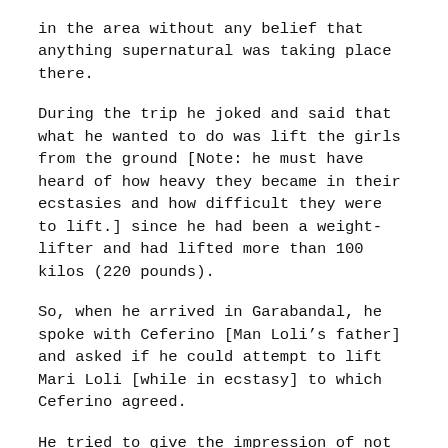in the area without any belief that anything supernatural was taking place there.
During the trip he joked and said that what he wanted to do was lift the girls from the ground [Note: he must have heard of how heavy they became in their ecstasies and how difficult they were to lift.] since he had been a weight-lifter and had lifted more than 100 kilos (220 pounds).
So, when he arrived in Garabandal, he spoke with Ceferino [Man Loli's father] and asked if he could attempt to lift Mari Loli [while in ecstasy] to which Ceferino agreed.
He tried to give the impression of not taking it all too seriously, but he must have made a tremendous effort to lift the girl, trying two or three times, but all to no avail. The weightlifter couldn't budge Mari Loli in ecstasy. He was dumbfounded and said interiorly: “Little Virgin, if this is true, when I return to Madrid, I will